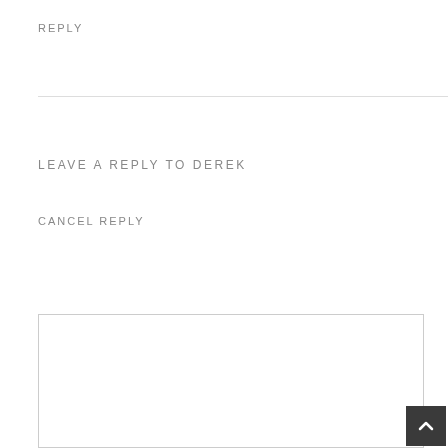REPLY
LEAVE A REPLY TO DEREK
CANCEL REPLY
[Figure (other): Empty textarea input box with light gray border]
[Figure (other): Dark gray scroll-to-top button with upward chevron arrow in bottom right corner]